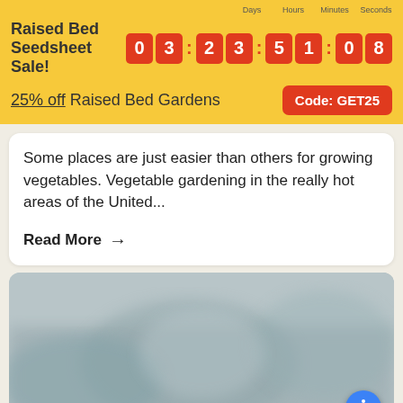Raised Bed Seedsheet Sale! 03:23:51:08 — Days, Hours, Minutes, Seconds
25% off Raised Bed Gardens  Code: GET25
Some places are just easier than others for growing vegetables. Vegetable gardening in the really hot areas of the United...
Read More →
[Figure (photo): Blurred outdoor garden or vegetable patch photo]